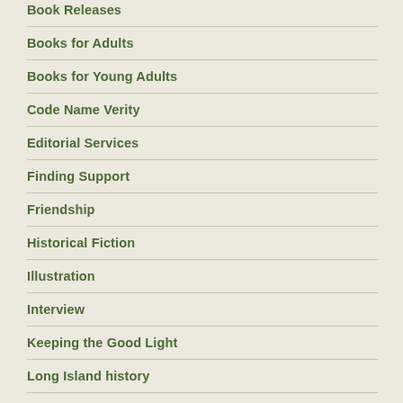Book Releases
Books for Adults
Books for Young Adults
Code Name Verity
Editorial Services
Finding Support
Friendship
Historical Fiction
Illustration
Interview
Keeping the Good Light
Long Island history
Madeleine L'Engle
Making Transitions
Nonfiction